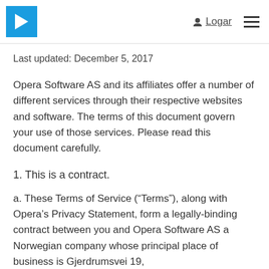Logar
Last updated: December 5, 2017
Opera Software AS and its affiliates offer a number of different services through their respective websites and software. The terms of this document govern your use of those services. Please read this document carefully.
1. This is a contract.
a. These Terms of Service (“Terms”), along with Opera’s Privacy Statement, form a legally-binding contract between you and Opera Software AS a Norwegian company whose principal place of business is Gjerdrumsvei 19,